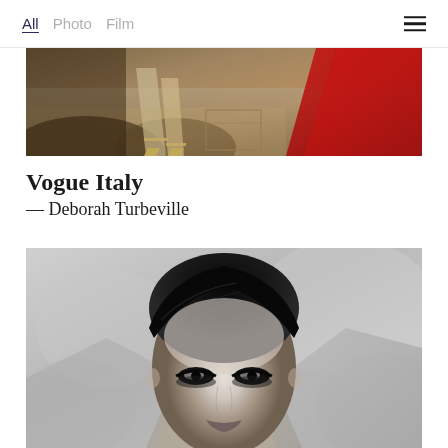All  Photo  Film
[Figure (photo): Color photograph showing legs and feet in heeled sandals on a floor, with a red fabric/drape visible on the right side]
Vogue Italy
— Deborah Turbeville
[Figure (photo): Black and white close-up portrait photograph of a woman with dark slicked-back hair and dramatic eye makeup, looking directly at camera]